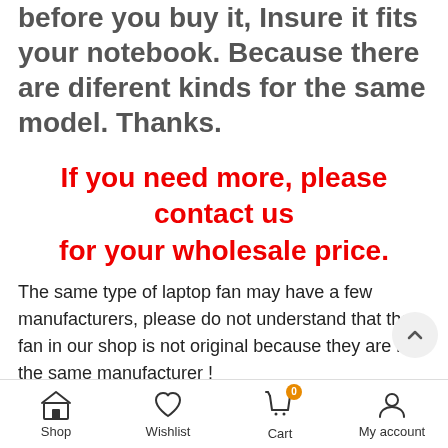before you buy it, Insure it fits your notebook. Because there are diferent kinds for the same model. Thanks.
If you need more, please contact us for your wholesale price.
The same type of laptop fan may have a few manufacturers, please do not understand that the fan in our shop is not original because they are not the same manufacturer !
Fan's Function:
1. It protects your valuable data by keeping your
Shop   Wishlist   Cart   My account